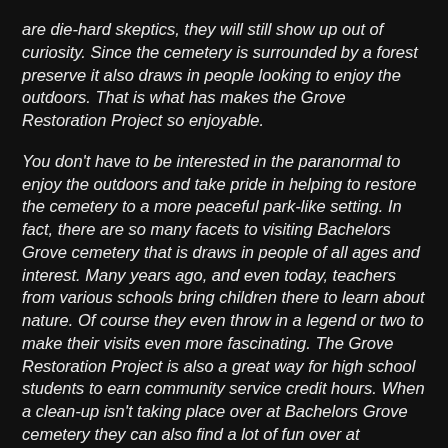are die-hard skeptics, they will still show up out of curiosity. Since the cemetery is surrounded by a forest preserve it also draws in people looking to enjoy the outdoors. That is what has makes the Grove Restoration Project so enjoyable.
You don't have to be interested in the paranormal to enjoy the outdoors and take pride in helping to restore the cemetery to a more peaceful park-like setting. In fact, there are so many facets to visiting Bachelors Grove cemetery that is draws in people of all ages and interest. Many years ago, and even today, teachers from various schools bring children there to learn about nature. Of course they even throw in a legend or two to make their visits even more fascinating. The Grove Restoration Project is also a great way for high school students to earn community service credit hours. When a clean-up isn't taking place over at Bachelors Grove cemetery they can also find a lot of fun over at Bachelors Grove Prairie